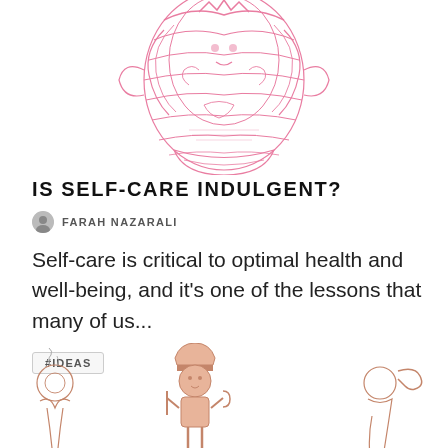[Figure (illustration): Pink illustrated artwork showing ornate figures/characters, partially cropped at top, centered on page]
IS SELF-CARE INDULGENT?
FARAH NAZARALI
Self-care is critical to optimal health and well-being, and it's one of the lessons that many of us...
#IDEAS
[Figure (illustration): Small cartoon illustrations at bottom of page showing whimsical characters in pink/brown tones, partially cropped]